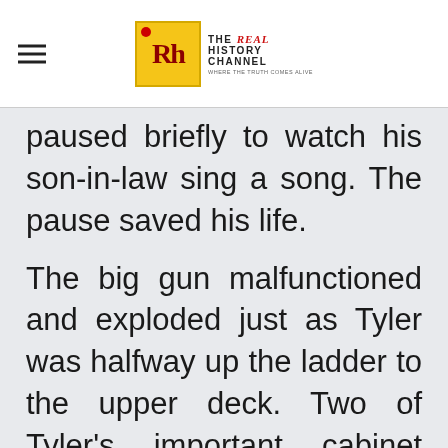THE REAL HISTORY CHANNEL — WHERE THE TRUTH COMES ALIVE
paused briefly to watch his son-in-law sing a song. The pause saved his life.

The big gun malfunctioned and exploded just as Tyler was halfway up the ladder to the upper deck. Two of Tyler's important cabinet members, Thomas Gilmer (Secretary of the Navy) and Abel Upshur